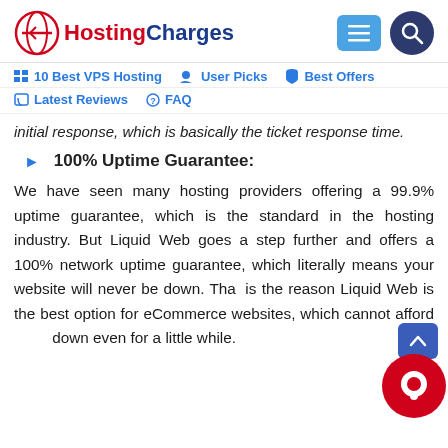HostingCharges
10 Best VPS Hosting  User Picks  Best Offers
Latest Reviews  FAQ
initial response, which is basically the ticket response time.
100% Uptime Guarantee:
We have seen many hosting providers offering a 99.9% uptime guarantee, which is the standard in the hosting industry. But Liquid Web goes a step further and offers a 100% network uptime guarantee, which literally means your website will never be down. That is the reason Liquid Web is the best option for eCommerce websites, which cannot afford to be down even for a little while.